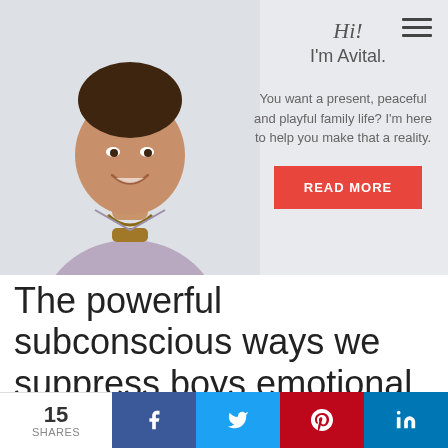[Figure (photo): Website hero banner with a smiling woman with short curly hair wearing a purple top and wooden necklace, on a light grey background. Text overlay reads: Hi! I'm Avital. You want a present, peaceful and playful family life? I'm here to help you make that a reality. With a red READ MORE button. Hamburger menu icon in top right.]
The powerful subconscious ways we suppress boys emotional growth and why
[Figure (infographic): Social sharing bar at bottom: 15 SHARES, Facebook (blue), Twitter (light blue), Pinterest (red), LinkedIn (blue)]